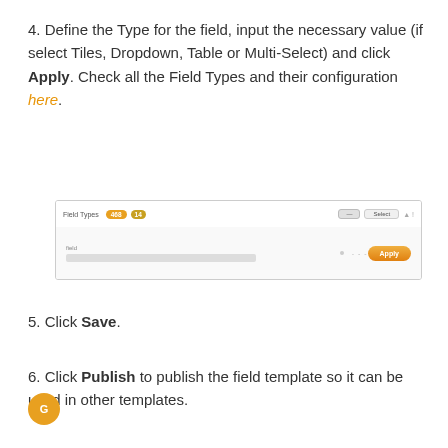4. Define the Type for the field, input the necessary value (if select Tiles, Dropdown, Table or Multi-Select) and click Apply. Check all the Field Types and their configuration here.
[Figure (screenshot): Screenshot of a UI panel showing 'Field Types' with two colored badge tags, a search/filter bar with buttons, a text input area with a gray bar, dots, dashes, and an orange Apply button on the right.]
5. Click Save.
6. Click Publish to publish the field template so it can be used in other templates.